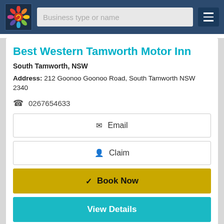Business type or name
Best Western Tamworth Motor Inn
South Tamworth, NSW
Address: 212 Goonoo Goonoo Road, South Tamworth NSW 2340
0267654633
Email
Claim
Book Now
View Details
[Figure (photo): Partial view of a room interior with ceiling light]